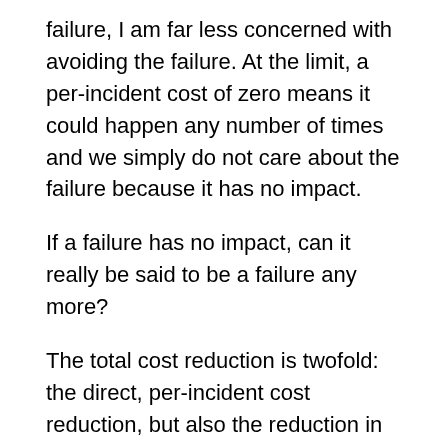failure, I am far less concerned with avoiding the failure. At the limit, a per-incident cost of zero means it could happen any number of times and we simply do not care about the failure because it has no impact.
If a failure has no impact, can it really be said to be a failure any more?
The total cost reduction is twofold: the direct, per-incident cost reduction, but also the reduction in overhead costs associated with managing risk avoidance.
Many organisations develop complex and unwieldy processes to avoid making costly failures. This investment makes sense where the